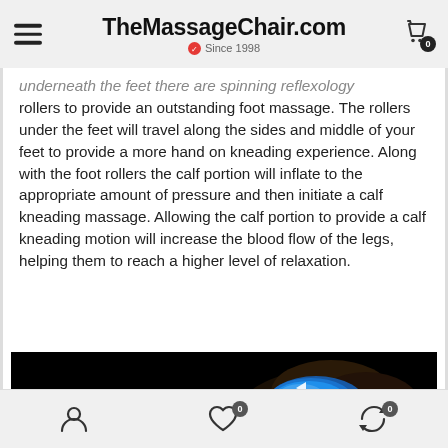TheMassageChair.com — Since 1998
Underneath the feet there are spinning reflexology rollers to provide an outstanding foot massage. The rollers under the feet will travel along the sides and middle of your feet to provide a more hand on kneading experience. Along with the foot rollers the calf portion will inflate to the appropriate amount of pressure and then initiate a calf kneading massage. Allowing the calf portion to provide a calf kneading motion will increase the blood flow of the legs, helping them to reach a higher level of relaxation.
[Figure (photo): Dark product photo showing massage chair calf/foot section with blue inflatable airbag highlighted and white arrows indicating kneading motion. Text overlay reads 'True Calf KNEADING' in blue and white.]
Navigation icons: user account, wishlist (0), cart (0)